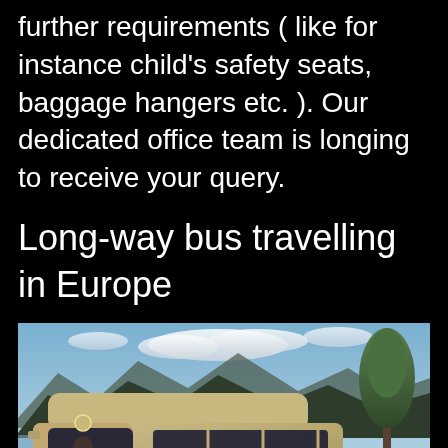further requirements (like for instance child's safety seats, baggage hangers etc.). Our dedicated office team is longing to receive your query.
Long-way bus travelling in Europe
[Figure (photo): A large silver/gold Mercedes-Benz minibus/coach van parked on a road with mountains, a lake, and trees in the background under a partly cloudy sky.]